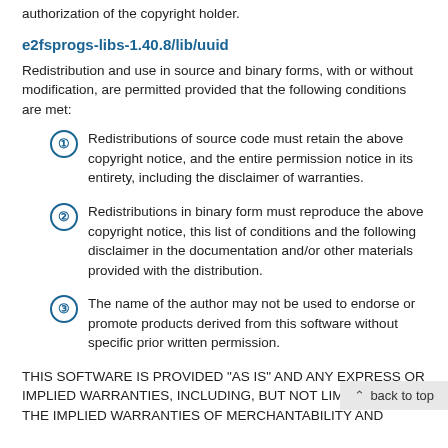authorization of the copyright holder.
e2fsprogs-libs-1.40.8/lib/uuid
Redistribution and use in source and binary forms, with or without modification, are permitted provided that the following conditions are met:
Redistributions of source code must retain the above copyright notice, and the entire permission notice in its entirety, including the disclaimer of warranties.
Redistributions in binary form must reproduce the above copyright notice, this list of conditions and the following disclaimer in the documentation and/or other materials provided with the distribution.
The name of the author may not be used to endorse or promote products derived from this software without specific prior written permission.
THIS SOFTWARE IS PROVIDED “AS IS” AND ANY EXPRESS OR IMPLIED WARRANTIES, INCLUDING, BUT NOT LIMITED TO, THE IMPLIED WARRANTIES OF MERCHANTABILITY AND